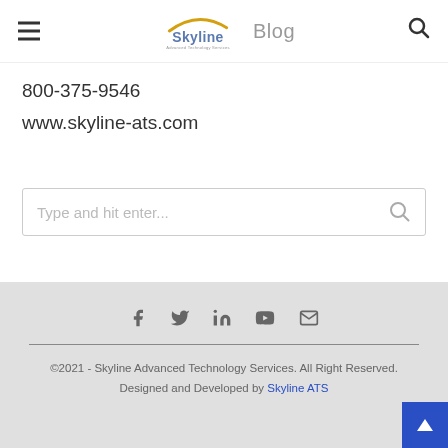Skyline Blog
800-375-9546
www.skyline-ats.com
[Figure (other): Search input box with placeholder text 'Type and hit enter...' and a search icon on the right]
©2021 - Skyline Advanced Technology Services. All Right Reserved. Designed and Developed by Skyline ATS